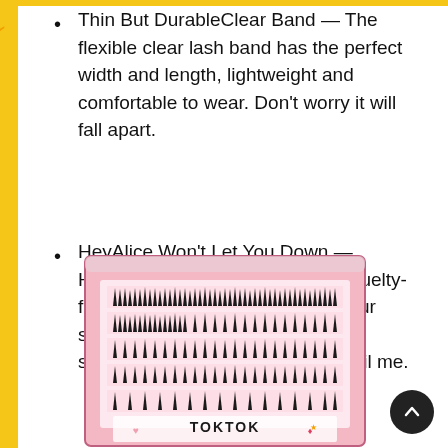Thin But DurableClear Band — The flexible clear lash band has the perfect width and length, lightweight and comfortable to wear. Don't worry it will fall apart.
HeyAlice Won't Let You Down — HeyAlice's false eyelashes are Cruelty-free & Vegan. HeyAlice values your suggestions, any problem and suggestion, please feel free to mail me.
[Figure (photo): Product photo of a pink box of individual cluster false eyelashes (TOKTOK brand) with multiple rows of lashes arranged inside a clear-lidded tray.]